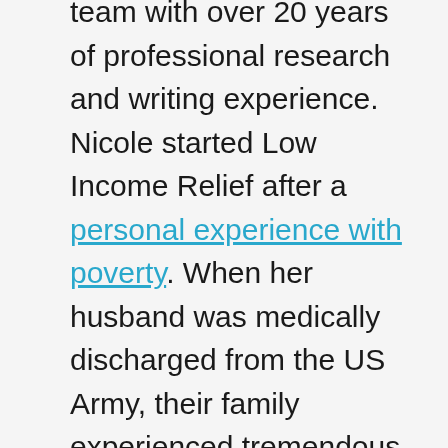team with over 20 years of professional research and writing experience. Nicole started Low Income Relief after a personal experience with poverty. When her husband was medically discharged from the US Army, their family experienced tremendous financial hardship. Nicole was able to gather help from multiple community agencies and move into a nearby low income housing unit in just two weeks! Since then, Nicole has been dedicated to helping low income families in crisis. She regularly spends hundreds of hours combing through countless resources to make sure that Low Income Relief has the most comprehensive and complete resource directories on the internet today. Prior to starting